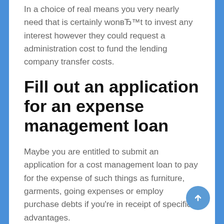In a choice of real means you very nearly need that is certainly won't to invest any interest however they could request a administration cost to fund the lending company transfer costs.
Fill out an application for an expense management loan
Maybe you are entitled to submit an application for a cost management loan to pay for the expense of such things as furniture, garments, going expenses or employ purchase debts if you're in receipt of specific advantages.
Or maybe you may find a way to claim for the investing